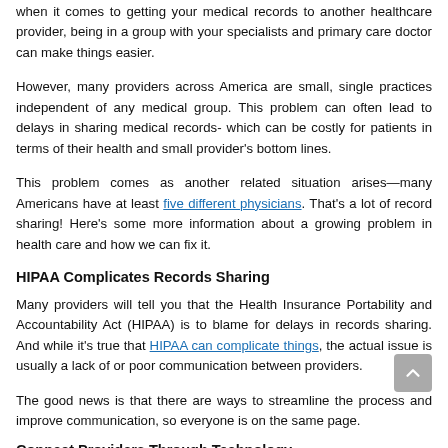when it comes to getting your medical records to another healthcare provider, being in a group with your specialists and primary care doctor can make things easier.
However, many providers across America are small, single practices independent of any medical group. This problem can often lead to delays in sharing medical records- which can be costly for patients in terms of their health and small provider's bottom lines.
This problem comes as another related situation arises—many Americans have at least five different physicians. That's a lot of record sharing! Here's some more information about a growing problem in health care and how we can fix it.
HIPAA Complicates Records Sharing
Many providers will tell you that the Health Insurance Portability and Accountability Act (HIPAA) is to blame for delays in records sharing. And while it's true that HIPAA can complicate things, the actual issue is usually a lack of or poor communication between providers.
The good news is that there are ways to streamline the process and improve communication, so everyone is on the same page.
Connect Providers Through Technology